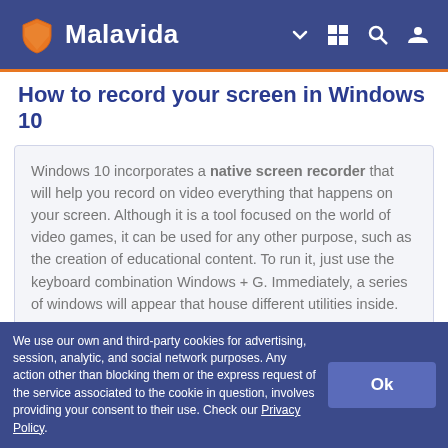Malavida
How to record your screen in Windows 10
Windows 10 incorporates a native screen recorder that will help you record on video everything that happens on your screen. Although it is a tool focused on the world of video games, it can be used for any other purpose, such as the creation of educational content. To run it, just use the keyboard combination Windows + G. Immediately, a series of windows will appear that house different utilities inside.
VIEW
We use our own and third-party cookies for advertising, session, analytic, and social network purposes. Any action other than blocking them or the express request of the service associated to the cookie in question, involves providing your consent to their use. Check our Privacy Policy.
Ok